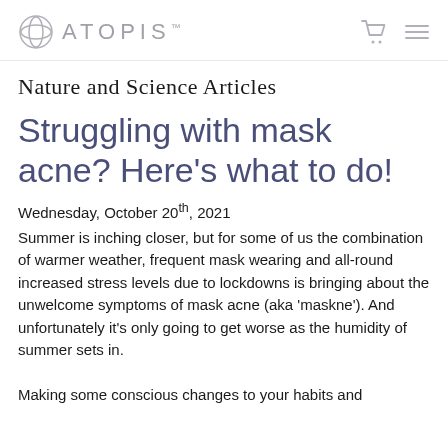ATOPIS™
Nature and Science Articles
Struggling with mask acne? Here's what to do!
Wednesday, October 20th, 2021
Summer is inching closer, but for some of us the combination of warmer weather, frequent mask wearing and all-round increased stress levels due to lockdowns is bringing about the unwelcome symptoms of mask acne (aka 'maskne'). And unfortunately it's only going to get worse as the humidity of summer sets in.

Making some conscious changes to your habits and